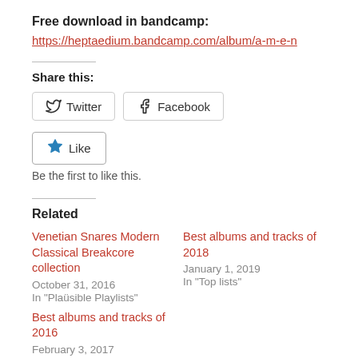Free download in bandcamp:
https://heptaedium.bandcamp.com/album/a-m-e-n
Share this:
[Figure (other): Twitter social share button]
[Figure (other): Facebook social share button]
[Figure (other): Like button with star icon]
Be the first to like this.
Related
Venetian Snares Modern Classical Breakcore collection
October 31, 2016
In "Plaüsible Playlists"
Best albums and tracks of 2018
January 1, 2019
In "Top lists"
Best albums and tracks of 2016
February 3, 2017